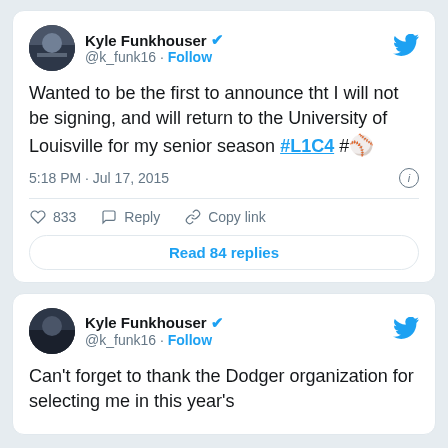[Figure (screenshot): Tweet card from Kyle Funkhouser (@k_funk16) with verified badge and Follow link. Tweet text: 'Wanted to be the first to announce tht I will not be signing, and will return to the University of Louisville for my senior season #L1C4 #⚾'. Timestamp: 5:18 PM · Jul 17, 2015. 833 likes. Reply and Copy link actions. Read 84 replies button.]
[Figure (screenshot): Second tweet card from Kyle Funkhouser (@k_funk16) with verified badge and Follow link. Tweet text begins: 'Can't forget to thank the Dodger organization for selecting me in this year's']